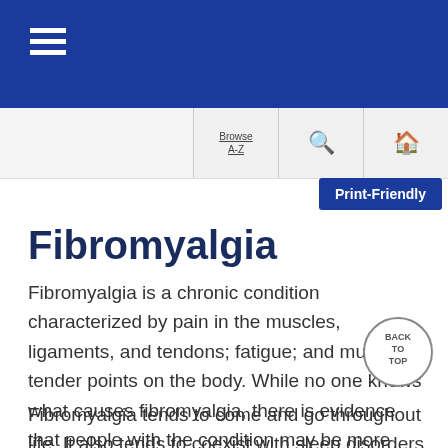Fibromyalgia - medical information page with navigation bar
Fibromyalgia
Fibromyalgia is a chronic condition characterized by pain in the muscles, ligaments, and tendons; fatigue; and multiple tender points on the body. While no one knows what causes fibromyalgia, there is evidence that people with the condition may be more sensitive to pain because something is wrong with the body's usual pain perception processes. More women than men have fibromyalgia.
Fibromyalgia tends to come and go throughout life. It also tends to coexist with sleep disorders, anxiety, depression,